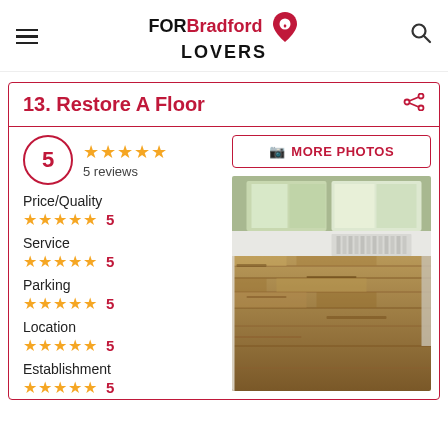FOR Bradford LOVERS
13. Restore A Floor
5
5 reviews
Price/Quality 5
Service 5
Parking 5
Location 5
Establishment 5
[Figure (photo): Interior room photo showing restored hardwood floor planks with window and radiator visible in background]